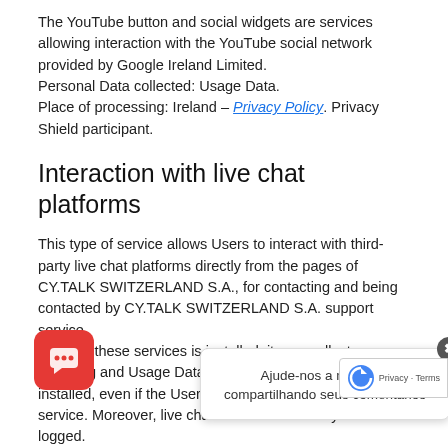The YouTube button and social widgets are services allowing interaction with the YouTube social network provided by Google Ireland Limited.
Personal Data collected: Usage Data.
Place of processing: Ireland – Privacy Policy. Privacy Shield participant.
Interaction with live chat platforms
This type of service allows Users to interact with third-party live chat platforms directly from the pages of CY.TALK SWITZERLAND S.A., for contacting and being contacted by CY.TALK SWITZERLAND S.A. support service.
If one of these services is installed, it may collect browsing and Usage Data in the pages where it is installed, even if the Users do not actively use the service. Moreover, live chat conversations may be logged.
Facebook Messenger Customer Chat (Facebook, Inc.)
The Facebook Messenger Customer Chat is a service for interaction with the Facebook Messenger live chat platform...